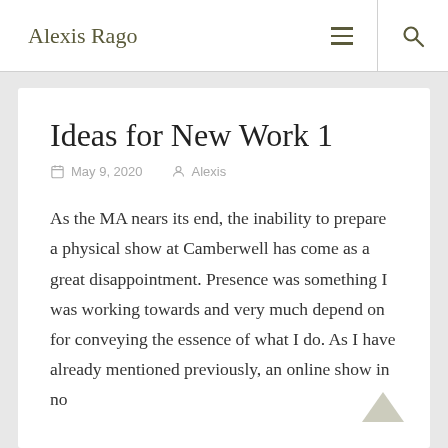Alexis Rago
Ideas for New Work 1
May 9, 2020   Alexis
As the MA nears its end, the inability to prepare a physical show at Camberwell has come as a great disappointment. Presence was something I was working towards and very much depend on for conveying the essence of what I do. As I have already mentioned previously, an online show in no